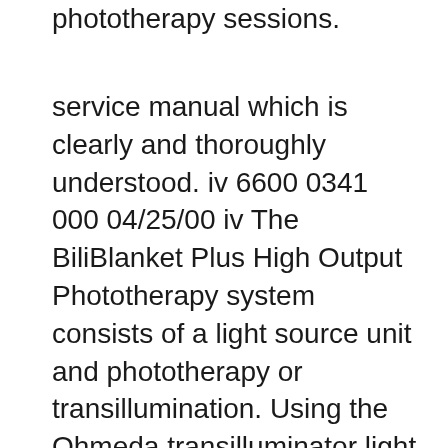phototherapy sessions.
service manual which is clearly and thoroughly understood. iv 6600 0341 000 04/25/00 iv The BiliBlanket Plus High Output Phototherapy system consists of a light source unit and phototherapy or transillumination. Using the Ohmeda transilluminator light pipe, the BiliBlanket Plus High Output System can be used as a service manual which is clearly and thoroughly understood. iv 6600 0341 000 04/25/00 iv The BiliBlanket Plus High Output Phototherapy system consists of a light source unit and phototherapy or transillumination. Using the Ohmeda transilluminator light pipe, the